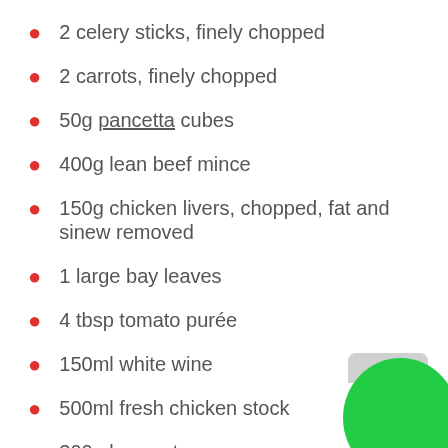2 celery sticks, finely chopped
2 carrots, finely chopped
50g pancetta cubes
400g lean beef mince
150g chicken livers, chopped, fat and sinew removed
1 large bay leaves
4 tbsp tomato purée
150ml white wine
500ml fresh chicken stock
300ml passata
500g pack spaghetti
50ml full-fat milk